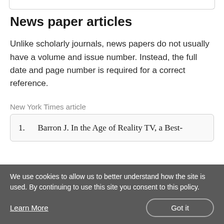News paper articles
Unlike scholarly journals, news papers do not usually have a volume and issue number. Instead, the full date and page number is required for a correct reference.
New York Times article
1. Barron J. In the Age of Reality TV, a Best-
We use cookies to allow us to better understand how the site is used. By continuing to use this site you consent to this policy.